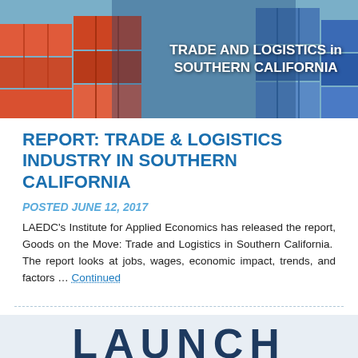[Figure (photo): Header banner photo of shipping containers (red and blue) with white bold text overlay reading 'TRADE AND LOGISTICS in SOUTHERN CALIFORNIA']
REPORT: TRADE & LOGISTICS INDUSTRY IN SOUTHERN CALIFORNIA
POSTED JUNE 12, 2017
LAEDC's Institute for Applied Economics has released the report, Goods on the Move: Trade and Logistics in Southern California. The report looks at jobs, wages, economic impact, trends, and factors … Continued
[Figure (photo): Partial banner image showing the word 'LAUNCH' in large dark bold letters on a light background]